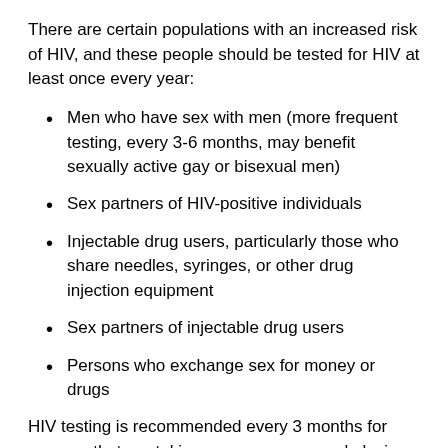There are certain populations with an increased risk of HIV, and these people should be tested for HIV at least once every year:
Men who have sex with men (more frequent testing, every 3-6 months, may benefit sexually active gay or bisexual men)
Sex partners of HIV-positive individuals
Injectable drug users, particularly those who share needles, syringes, or other drug injection equipment
Sex partners of injectable drug users
Persons who exchange sex for money or drugs
HIV testing is recommended every 3 months for persons that are taking pre-exposure prophylaxis (PrEP) medication for HIV.